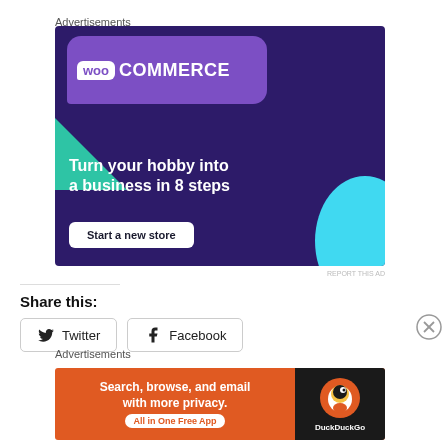Advertisements
[Figure (illustration): WooCommerce advertisement banner with purple background, speech bubble logo, green triangle, cyan circle, tagline 'Turn your hobby into a business in 8 steps', and 'Start a new store' button]
REPORT THIS AD
Share this:
Twitter
Facebook
Advertisements
[Figure (illustration): DuckDuckGo advertisement banner with orange left side saying 'Search, browse, and email with more privacy. All in One Free App' and black right side with DuckDuckGo duck logo and text]